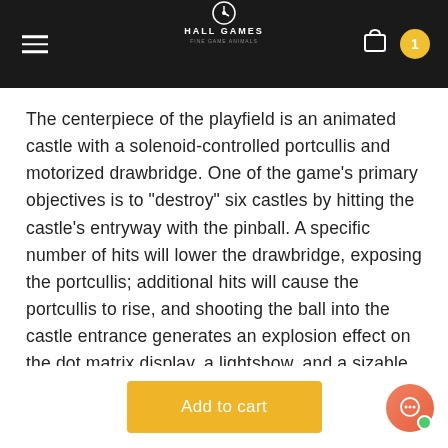Hall Games
The centerpiece of the playfield is an animated castle with a solenoid-controlled portcullis and motorized drawbridge. One of the game’s primary objectives is to “destroy” six castles by hitting the castle’s entryway with the pinball. A specific number of hits will lower the drawbridge, exposing the portcullis; additional hits will cause the portcullis to rise, and shooting the ball into the castle entrance generates an explosion effect on the dot matrix display, a lightshow, and a sizable award of points.
Medieval Madness also features two Trolls, animated targets that are normally concealed below the playfield,